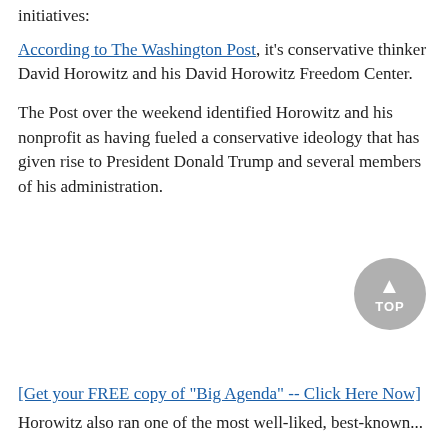initiatives:
According to The Washington Post, it's conservative thinker David Horowitz and his David Horowitz Freedom Center.
The Post over the weekend identified Horowitz and his nonprofit as having fueled a conservative ideology that has given rise to President Donald Trump and several members of his administration.
[Figure (other): Scroll-to-top button with upward arrow and label TOP]
[Get your FREE copy of "Big Agenda" -- Click Here Now]
Horowitz also ran one of the most well-liked, best-known...